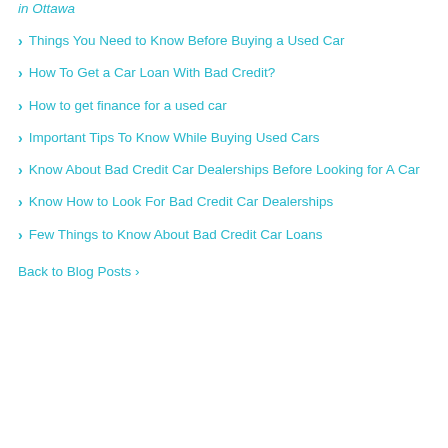in Ottawa
Things You Need to Know Before Buying a Used Car
How To Get a Car Loan With Bad Credit?
How to get finance for a used car
Important Tips To Know While Buying Used Cars
Know About Bad Credit Car Dealerships Before Looking for A Car
Know How to Look For Bad Credit Car Dealerships
Few Things to Know About Bad Credit Car Loans
Back to Blog Posts ›